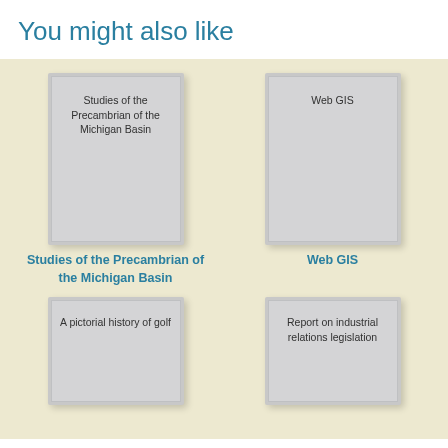You might also like
[Figure (illustration): Book cover thumbnail for 'Studies of the Precambrian of the Michigan Basin']
Studies of the Precambrian of the Michigan Basin
[Figure (illustration): Book cover thumbnail for 'Web GIS']
Web GIS
[Figure (illustration): Book cover thumbnail for 'A pictorial history of golf']
[Figure (illustration): Book cover thumbnail for 'Report on industrial relations legislation']